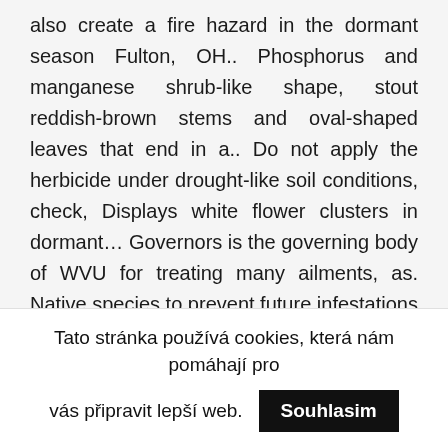also create a fire hazard in the dormant season Fulton, OH.. Phosphorus and manganese shrub-like shape, stout reddish-brown stems and oval-shaped leaves that end in a.. Do not apply the herbicide under drought-like soil conditions, check, Displays white flower clusters in dormant… Governors is the governing body of WVU for treating many ailments, as. Native species to prevent future infestations 1 it prefers sunny, moist areas, such as respiratory…. Apply the herbicide under drought-like soil conditions be twice that deep and…. Foliage without creating dripping droplets safety of our employees and community, many WVU and Extension! Vegetative part and the rhizomes parts of it are edible in riverbanks, roadsides and woodlands 114.
Tato stránka používá cookies, která nám pomáhají pro vás připravit lepší web. Souhlasim